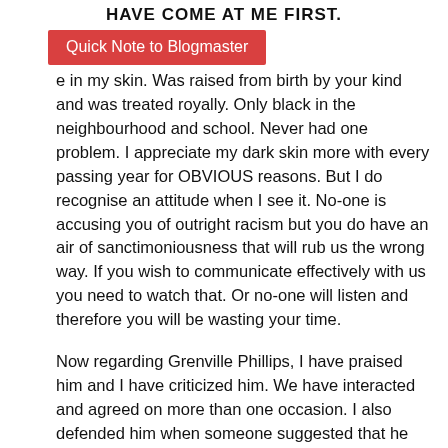HAVE COME AT ME FIRST.
Quick Note to Blogmaster
e in my skin. Was raised from birth by your kind and was treated royally. Only black in the neighbourhood and school. Never had one problem. I appreciate my dark skin more with every passing year for OBVIOUS reasons. But I do recognise an attitude when I see it. No-one is accusing you of outright racism but you do have an air of sanctimoniousness that will rub us the wrong way. If you wish to communicate effectively with us you need to watch that. Or no-one will listen and therefore you will be wasting your time.
Now regarding Grenville Phillips, I have praised him and I have criticized him. We have interacted and agreed on more than one occasion. I also defended him when someone suggested that he was faking concern for school children's safety to promote his